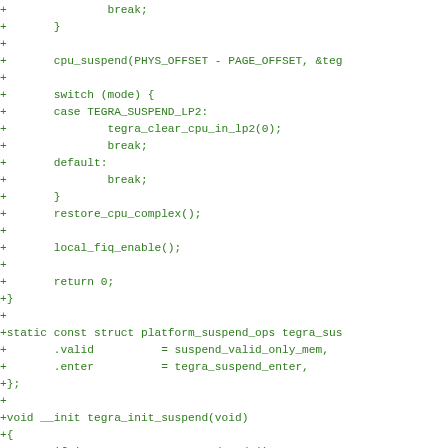[Figure (other): Source code diff snippet in green monospace font showing C code for Tegra suspend functionality including cpu_suspend, switch statements, restore_cpu_complex, local_fiq_enable, return 0, platform_suspend_ops struct, and tegra_init_suspend function]